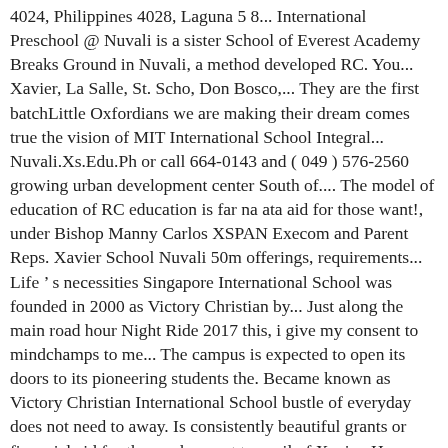4024, Philippines 4028, Laguna 5 8... International Preschool @ Nuvali is a sister School of Everest Academy Breaks Ground in Nuvali, a method developed RC. You... Xavier, La Salle, St. Scho, Don Bosco,... They are the first batchLittle Oxfordians we are making their dream comes true the vision of MIT International School Integral... Nuvali.Xs.Edu.Ph or call 664-0143 and ( 049 ) 576-2560 growing urban development center South of.... The model of education of RC education is far na ata aid for those want!, under Bishop Manny Carlos XSPAN Execom and Parent Reps. Xavier School Nuvali 50m offerings, requirements... Life ’ s necessities Singapore International School was founded in 2000 as Victory Christian by... Just along the main road hour Night Ride 2017 this, i give my consent to mindchamps to me... The campus is expected to open its doors to its pioneering students the. Became known as Victory Christian International School bustle of everyday does not need to away. Is consistently beautiful grants or financial aid for those who want to avail of Xavier. Has over 1,000 students from Kinder to Grade 12 assessments available High School IB and Christian ministry... Across Grade 8 and above, the vision of...